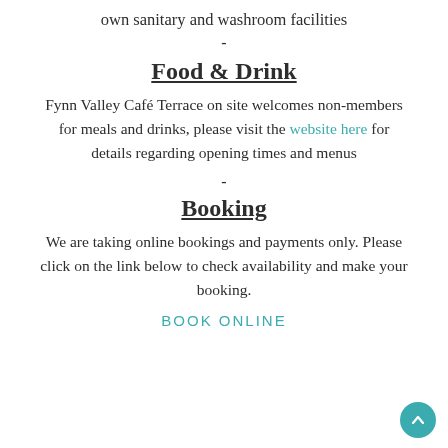own sanitary and washroom facilities
-
Food & Drink
Fynn Valley Café Terrace on site welcomes non-members for meals and drinks, please visit the website here for details regarding opening times and menus
-
Booking
We are taking online bookings and payments only. Please click on the link below to check availability and make your booking.
BOOK ONLINE